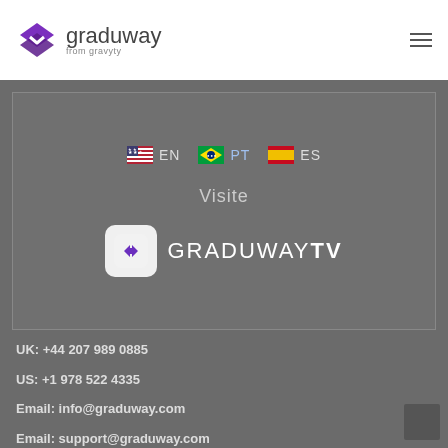[Figure (logo): Graduway logo with purple diamond/arrow shape and text 'graduway from gravyty']
[Figure (infographic): Dark gray banner showing language options (EN, PT, ES with flags), 'Visite' text, and Graduway TV logo]
UK: +44 207 989 0885
US: +1 978 522 4335
Email: info@graduway.com
Email: support@graduway.com